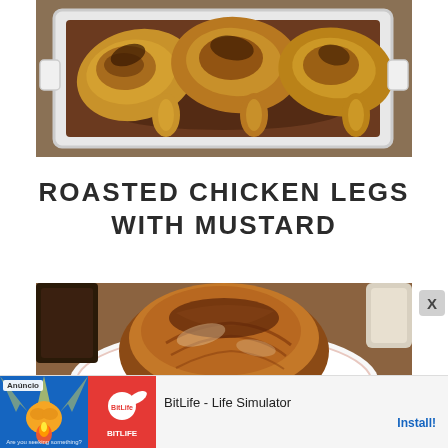[Figure (photo): Overhead view of roasted chicken legs in a white rectangular baking dish, showing golden-brown caramelized skin with dark mustard coating, in a sauce/marinade.]
ROASTED CHICKEN LEGS WITH MUSTARD
[Figure (photo): Close-up photo of a round rustic sourdough bread loaf on a floral-pattern white plate, with a dark brown crust, on a wooden table with other items in the background.]
[Figure (screenshot): Advertisement banner for BitLife - Life Simulator app. Shows an Anúncio label, a game graphic on the left with a muscle/power character, a red BitLife logo in the middle, app name 'BitLife - Life Simulator', and Install button.]